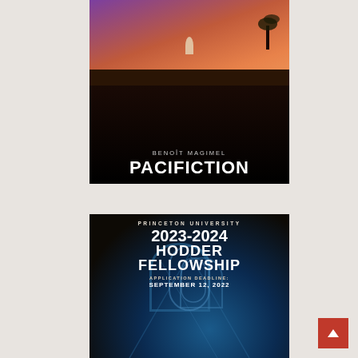[Figure (photo): Movie poster for 'PACIFICTION' featuring actor BENOÎT MAGIMEL. A person stands on a rooftop against a dramatic pink/orange sunset sky with palm trees. The lower half is dark/black with the film title in large white bold letters.]
[Figure (photo): Princeton University 2023-2024 Hodder Fellowship announcement. Dark background with stained glass cathedral image. White bold text reading 'PRINCETON UNIVERSITY', '2023-2024', 'HODDER FELLOWSHIP', 'APPLICATION DEADLINE:', 'SEPTEMBER 12, 2022'.]